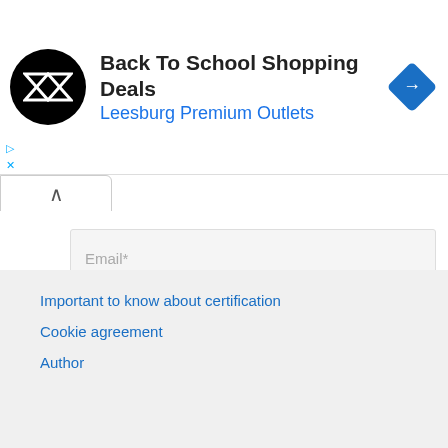[Figure (screenshot): Advertisement banner: Back To School Shopping Deals at Leesburg Premium Outlets, with circular black logo and blue navigation icon]
Email*
Website
Post Comment »
Important to know about certification
Cookie agreement
Author